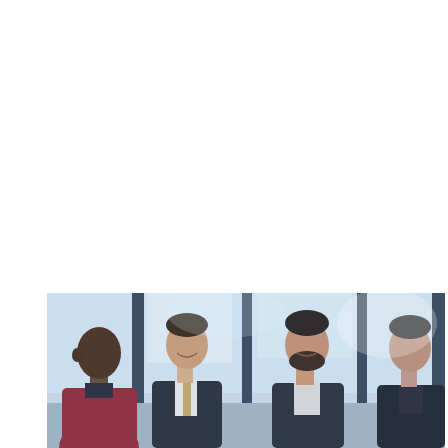[Figure (photo): Four men in business attire standing in a row in what appears to be a modern office or lobby with large windows. They appear to be engaged in conversation, smiling and talking. From left to right: a Black man in a dark red/burgundy jacket, a white man in a dark suit, a white man with a beard in a dark suit, and a white man in a dark jacket.]